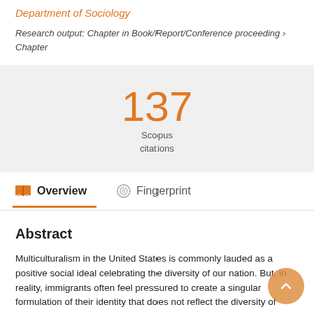Department of Sociology
Research output: Chapter in Book/Report/Conference proceeding › Chapter
137
Scopus
citations
Overview   Fingerprint
Abstract
Multiculturalism in the United States is commonly lauded as a positive social ideal celebrating the diversity of our nation. But, in reality, immigrants often feel pressured to create a singular formulation of their identity that does not reflect the diversity of